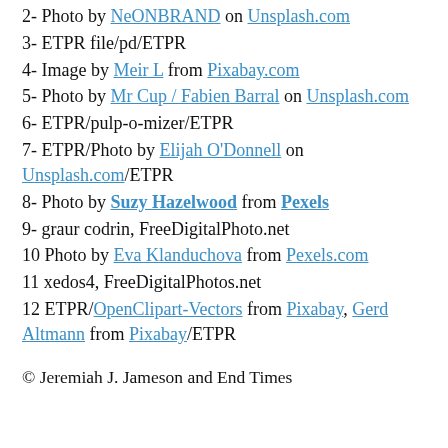2- Photo by NeONBRAND on Unsplash.com
3- ETPR file/pd/ETPR
4- Image by Meir L from Pixabay.com
5- Photo by Mr Cup / Fabien Barral on Unsplash.com
6- ETPR/pulp-o-mizer/ETPR
7- ETPR/Photo by Elijah O'Donnell on Unsplash.com/ETPR
8- Photo by Suzy Hazelwood from Pexels
9- graur codrin, FreeDigitalPhoto.net
10 Photo by Eva Klanduchova from Pexels.com
11 xedos4, FreeDigitalPhotos.net
12 ETPR/OpenClipart-Vectors from Pixabay, Gerd Altmann from Pixabay/ETPR
© Jeremiah J. Jameson and End Times Prophecy Report 2012-2021 © Mortal Ezrines